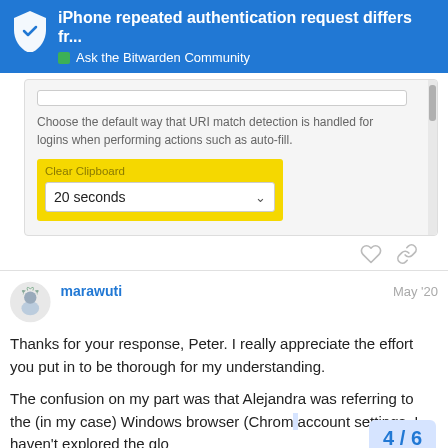iPhone repeated authentication request differs fr... — Ask the Bitwarden Community
[Figure (screenshot): Bitwarden app settings screenshot showing URI match detection description and Clear Clipboard dropdown set to 20 seconds]
marawuti
May '20
Thanks for your response, Peter. I really appreciate the effort you put in to be thorough for my understanding.
The confusion on my part was that Alejandra was referring to the (in my case) Windows browser (Chrom... account settings. I haven't explored the glo...
4 / 6